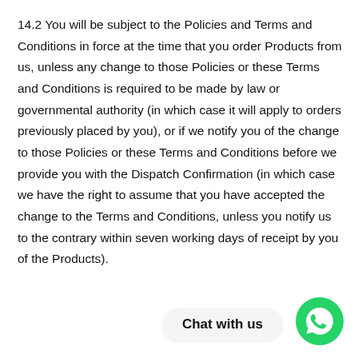14.2 You will be subject to the Policies and Terms and Conditions in force at the time that you order Products from us, unless any change to those Policies or these Terms and Conditions is required to be made by law or governmental authority (in which case it will apply to orders previously placed by you), or if we notify you of the change to those Policies or these Terms and Conditions before we provide you with the Dispatch Confirmation (in which case we have the right to assume that you have accepted the change to the Terms and Conditions, unless you notify us to the contrary within seven working days of receipt by you of the Products).
[Figure (other): WhatsApp Chat with us button with green WhatsApp phone icon logo]